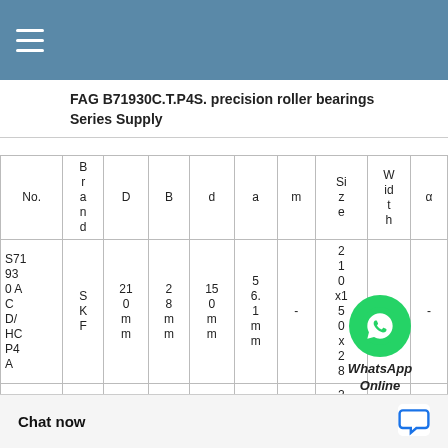FAG B71930C.T.P4S. precision roller bearings Series Supply
| No. | Brand | D | B | d | a | m | Size | Width | α |
| --- | --- | --- | --- | --- | --- | --- | --- | --- | --- |
| S71930 ACD/HCP4A | SKF | 210mm | 28mm | 150mm | 56.1mm | - | 210x150x28 | 28 | - |
|  |  |  |  |  |  |  | 2 |  |  |